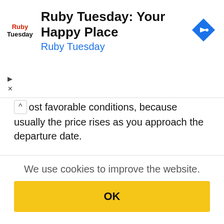[Figure (screenshot): Ruby Tuesday advertisement banner with logo, headline 'Ruby Tuesday: Your Happy Place', subtitle 'Ruby Tuesday', and a blue navigation diamond icon. Play and close buttons visible on left.]
ost favorable conditions, because usually the price rises as you approach the departure date.
Airports of Port Moresby
Port Moresby Jacksons International (POM)
We use cookies to improve the website.
OK